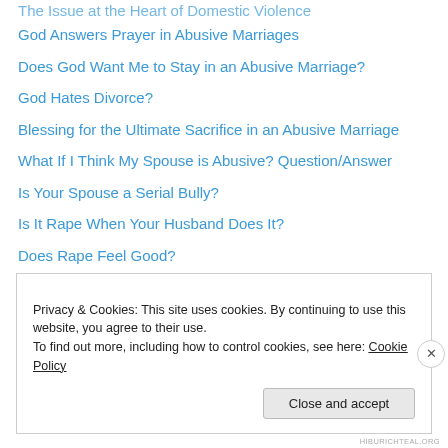God Answers Prayer in Abusive Marriages
Does God Want Me to Stay in an Abusive Marriage?
God Hates Divorce?
Blessing for the Ultimate Sacrifice in an Abusive Marriage
What If I Think My Spouse is Abusive? Question/Answer
Is Your Spouse a Serial Bully?
Is It Rape When Your Husband Does It?
Does Rape Feel Good?
Privacy & Cookies: This site uses cookies. By continuing to use this website, you agree to their use. To find out more, including how to control cookies, see here: Cookie Policy
HIBURICHTEAL.ORG